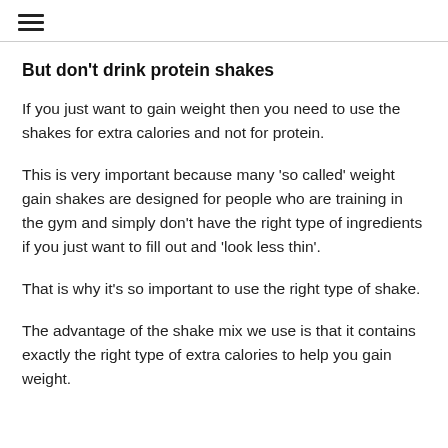≡
But don't drink protein shakes
If you just want to gain weight then you need to use the shakes for extra calories and not for protein.
This is very important because many 'so called' weight gain shakes are designed for people who are training in the gym and simply don't have the right type of ingredients if you just want to fill out and 'look less thin'.
That is why it's so important to use the right type of shake.
The advantage of the shake mix we use is that it contains exactly the right type of extra calories to help you gain weight.